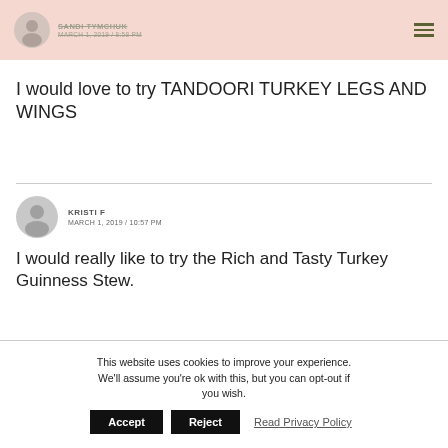SANDI TYMCHUK — MARCH 1, 2019 / 8:58 PM
I would love to try TANDOORI TURKEY LEGS AND WINGS
KRISTI F — MARCH 1, 2019 / 10:57 PM
I would really like to try the Rich and Tasty Turkey Guinness Stew.
This website uses cookies to improve your experience. We'll assume you're ok with this, but you can opt-out if you wish.  Accept  Reject  Read Privacy Policy